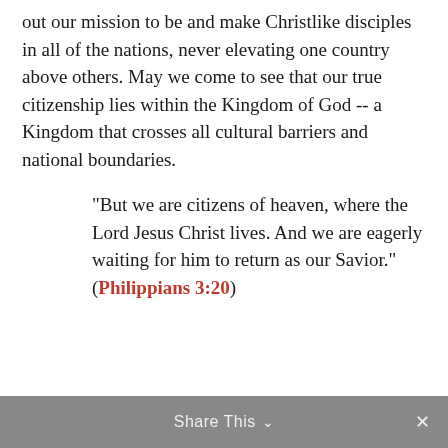out our mission to be and make Christlike disciples in all of the nations, never elevating one country above others. May we come to see that our true citizenship lies within the Kingdom of God -- a Kingdom that crosses all cultural barriers and national boundaries.
“But we are citizens of heaven, where the Lord Jesus Christ lives. And we are eagerly waiting for him to return as our Savior.” (Philippians 3:20)
Share This ∨   ×